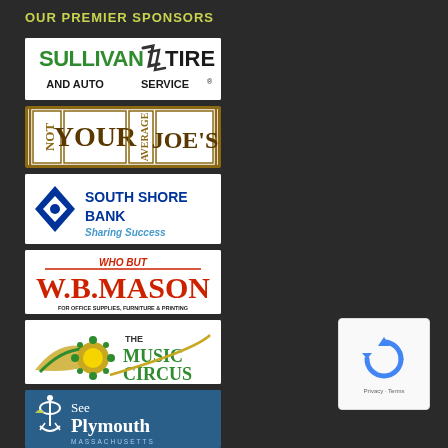OUR PREMIER SPONSORS
[Figure (logo): Sullivan Tire and Auto Service logo - green and black text on white background]
[Figure (logo): Not Your Average Joe's logo - brown text in bordered boxes on white background]
[Figure (logo): South Shore Bank logo with blue diamond icon and text 'Sharing Success']
[Figure (logo): W.B. Mason logo - red text on white, 'WHO BUT W.B.MASON FOR OFFICE SUPPLIES, FURNITURE & PRINTING']
[Figure (logo): The Music Circus logo - colorful with musical/circus imagery]
[Figure (logo): See Plymouth Massachusetts logo - white text on blue background with anchor/ship icon]